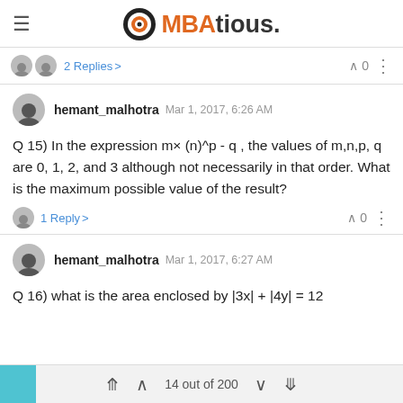MBAtious.
2 Replies
hemant_malhotra Mar 1, 2017, 6:26 AM
Q 15) In the expression m× (n)^p - q , the values of m,n,p, q are 0, 1, 2, and 3 although not necessarily in that order. What is the maximum possible value of the result?
1 Reply
hemant_malhotra Mar 1, 2017, 6:27 AM
Q 16) what is the area enclosed by |3x| + |4y| = 12
14 out of 200